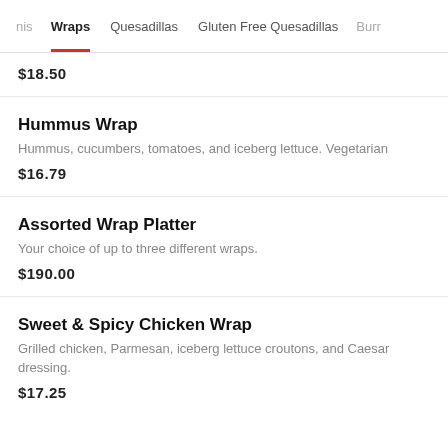nis   Wraps   Quesadillas   Gluten Free Quesadillas   Burr
$18.50
Hummus Wrap
Hummus, cucumbers, tomatoes, and iceberg lettuce. Vegetarian
$16.79
Assorted Wrap Platter
Your choice of up to three different wraps.
$190.00
Sweet & Spicy Chicken Wrap
Grilled chicken, Parmesan, iceberg lettuce croutons, and Caesar dressing.
$17.25